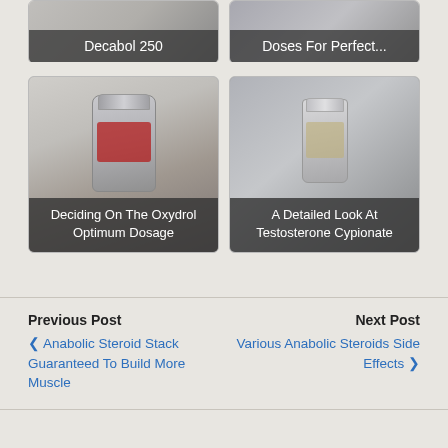[Figure (photo): Cropped top area showing two product cards: 'Decabol 250' on the left and 'Doses For Perfect...' on the right, partially visible at top of page]
[Figure (photo): Photo card of Oxydrol supplement bottle with label 'Deciding On The Oxydrol Optimum Dosage']
[Figure (photo): Photo card of a testosterone vial with label 'A Detailed Look At Testosterone Cypionate']
Previous Post
❮ Anabolic Steroid Stack Guaranteed To Build More Muscle
Next Post
Various Anabolic Steroids Side Effects ❯